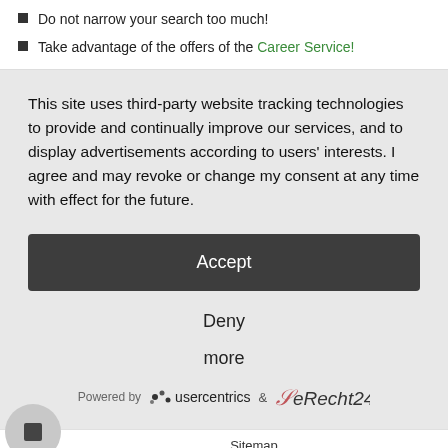Do not narrow your search too much!
Take advantage of the offers of the Career Service!
This site uses third-party website tracking technologies to provide and continually improve our services, and to display advertisements according to users' interests. I agree and may revoke or change my consent at any time with effect for the future.
Accept
Deny
more
Powered by  usercentrics  &  eRecht24
Sitemap
Accessibility
Imprint